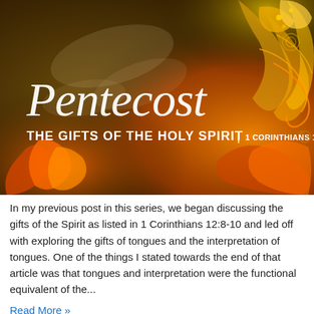[Figure (illustration): Decorative banner image with fiery orange and gold flame/floral swirls on a dark brown/gold background. White script text reads 'Pentecost' and bold white text reads 'THE GIFTS OF THE HOLY SPIRIT | 1 CORINTHIANS 12:1-14'.]
In my previous post in this series, we began discussing the gifts of the Spirit as listed in 1 Corinthians 12:8-10 and led off with exploring the gifts of tongues and the interpretation of tongues. One of the things I stated towards the end of that article was that tongues and interpretation were the functional equivalent of the...
Read More »